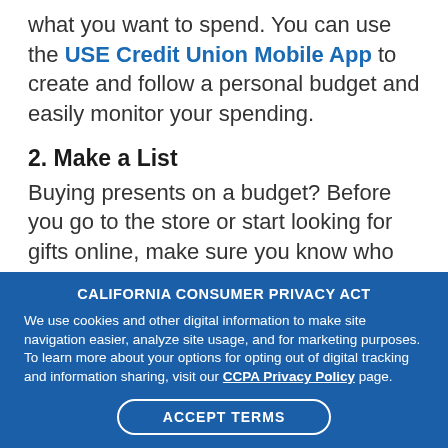what you want to spend. You can use the USE Credit Union Mobile App to create and follow a personal budget and easily monitor your spending.
2. Make a List
Buying presents on a budget? Before you go to the store or start looking for gifts online, make sure you know who you need to shop for and how much you can afford to spend on each
CALIFORNIA CONSUMER PRIVACY ACT
We use cookies and other digital information to make site navigation easier, analyze site usage, and for marketing purposes. To learn more about your options for opting out of digital tracking and information sharing, visit our CCPA Privacy Policy page.
ACCEPT TERMS